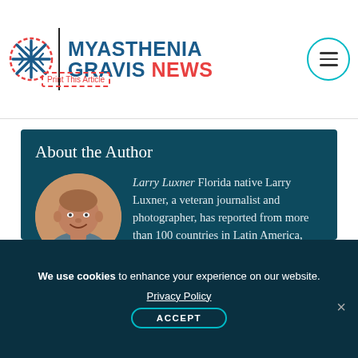[Figure (logo): Myasthenia Gravis News website logo with snowflake icon, site name in blue and red, and hamburger menu button]
Print This Article
About the Author
[Figure (photo): Circular portrait photo of Larry Luxner, a middle-aged bald man smiling]
Larry Luxner Florida native Larry Luxner, a veteran journalist and photographer, has reported from more than 100 countries in Latin America, Africa, Eastern Europe, the Middle East and Asia for the Miami Herald, the Washington
We use cookies to enhance your experience on our website.
Privacy Policy
ACCEPT